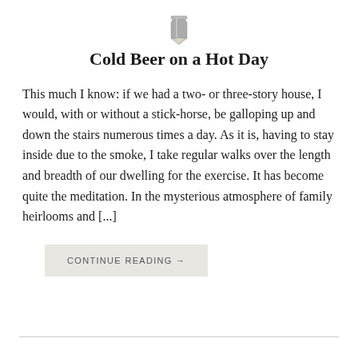[Figure (illustration): Small gray pencil icon centered at top of page]
Cold Beer on a Hot Day
This much I know: if we had a two- or three-story house, I would, with or without a stick-horse, be galloping up and down the stairs numerous times a day. As it is, having to stay inside due to the smoke, I take regular walks over the length and breadth of our dwelling for the exercise. It has become quite the meditation. In the mysterious atmosphere of family heirlooms and [...]
CONTINUE READING →